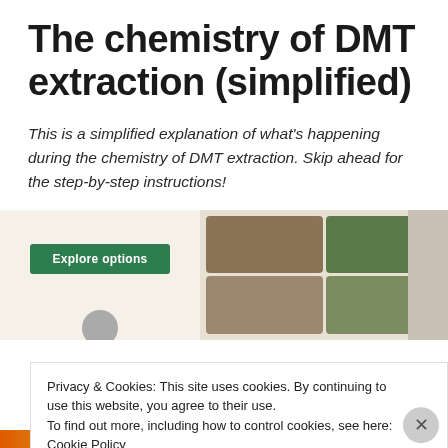The chemistry of DMT extraction (simplified)
This is a simplified explanation of what's happening during the chemistry of DMT extraction. Skip ahead for the step-by-step instructions!
[Figure (screenshot): Advertisement banner showing an 'Explore options' green button on a beige background on the left, and a food/recipe app interface screenshot with food images on the right. A circular icon is partially visible at the bottom left.]
Privacy & Cookies: This site uses cookies. By continuing to use this website, you agree to their use.
To find out more, including how to control cookies, see here: Cookie Policy
Close and accept